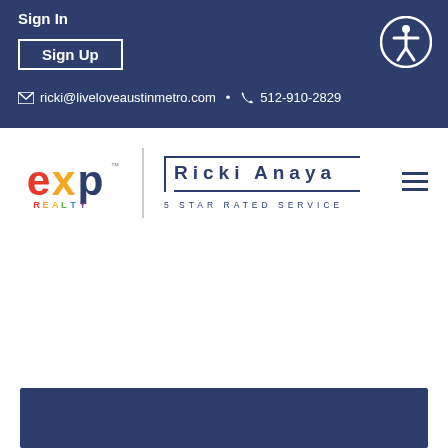Sign In
Sign Up
ricki@liveloveaustinmetro.com • 512-910-2829
[Figure (logo): eXp Realty logo with colorful letters]
Ricki Anaya
5 STAR RATED SERVICE
[Figure (other): Dark navy blue section at bottom of page]